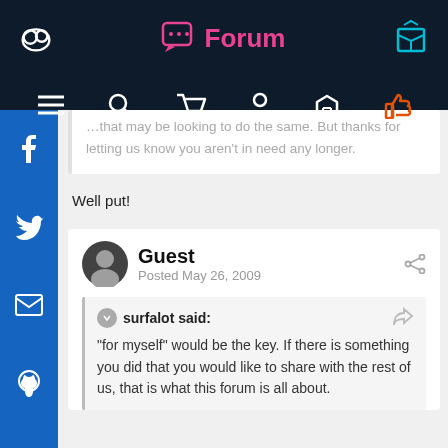Forum
that may be looking to do the same. But thanks for letting us know you aren't in need any longer.
Well put!
Guest
Posted May 26, 2009
surfalot said:
"for myself" would be the key. If there is something you did that you would like to share with the rest of us, that is what this forum is all about.